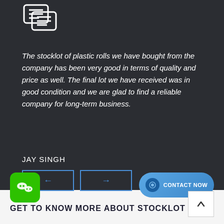[Figure (logo): Chat/message bubble icon logo in white on dark background]
The stocklot of plastic rolls we have bought from the company has been very good in terms of quality and price as well. The final lot we have received was in good condition and we are glad to find a reliable company for long-term business.
JAY SINGH
[Figure (other): Two navigation buttons with left and right arrows, bordered in blue]
[Figure (other): WeChat green icon and Contact Now blue button]
GET TO KNOW MORE ABOUT STOCKLOT